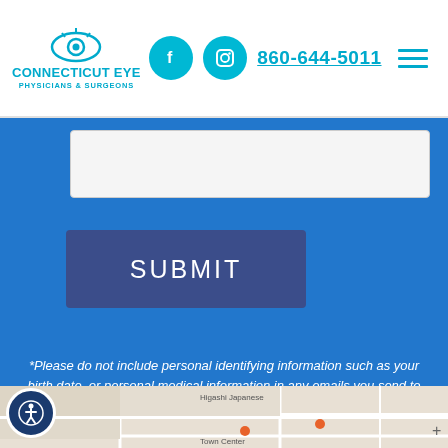Connecticut Eye Physicians & Surgeons | 860-644-5011
[Figure (screenshot): Input text box (partially visible, white/light gray background)]
[Figure (other): SUBMIT button, dark navy blue rectangle]
*Please do not include personal identifying information such as your birth date, or personal medical information in any emails you send to us.
[Figure (map): Google Maps screenshot showing South Windsor CT area with street labels and business pins]
[Figure (other): Accessibility icon button (person in circle), dark navy blue]